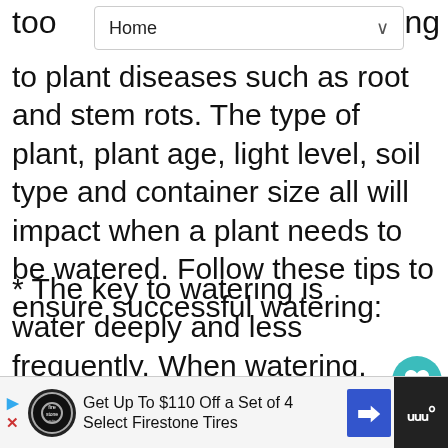Home
to plant diseases such as root and stem rots. The type of plant, plant age, light level, soil type and container size all will impact when a plant needs to be watered. Follow these tips to ensure successful watering:
* The key to watering is water deeply and less frequently. When watering, water well, i.e. provide enough water to thoroughly saturate the root ball. With in-ground plants, this mea thoroughly soaking the soil until water has penetrated to a depth of 6 to 7 inches (1' being better). With container grown plants, enough water to allow water to flow through
Get Up To $110 Off a Set of 4 Select Firestone Tires